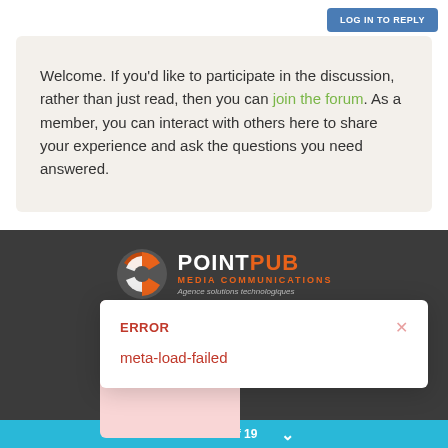LOG IN TO REPLY
Welcome. If you'd like to participate in the discussion, rather than just read, then you can join the forum. As a member, you can interact with others here to share your experience and ask the questions you need answered.
[Figure (logo): PointPub Media Communications logo with circular orange/white icon and text 'POINT PUB MEDIA COMMUNICATIONS Agence solutions technologiques']
Po...
Hosted freely...
ERROR
meta-load-failed
19 out of 19